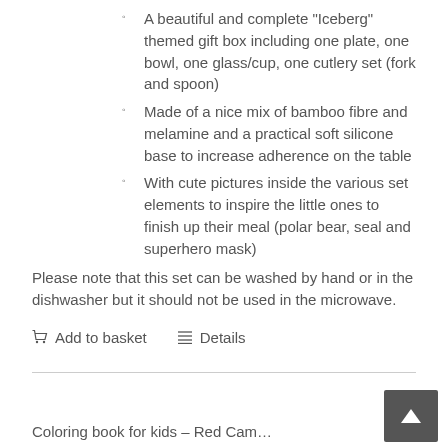A beautiful and complete "Iceberg" themed gift box including one plate, one bowl, one glass/cup, one cutlery set (fork and spoon)
Made of a nice mix of bamboo fibre and melamine and a practical soft silicone base to increase adherence on the table
With cute pictures inside the various set elements to inspire the little ones to finish up their meal (polar bear, seal and superhero mask)
Please note that this set can be washed by hand or in the dishwasher but it should not be used in the microwave.
Add to basket   Details
Coloring book for kids – Red Cam…